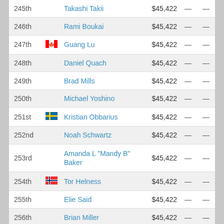| Rank | Country | Name | Prize |  |  |
| --- | --- | --- | --- | --- | --- |
| 245th | US | Takashi Takii | $45,422 | — | — |
| 246th | US | Rami Boukai | $45,422 | — | — |
| 247th | CA | Guang Lu | $45,422 | — | — |
| 248th | US | Daniel Quach | $45,422 | — | — |
| 249th | US | Brad Mills | $45,422 | — | — |
| 250th | US | Michael Yoshino | $45,422 | — | — |
| 251st | SE | Kristian Obbarius | $45,422 | — | — |
| 252nd | US | Noah Schwartz | $45,422 | — | — |
| 253rd | US | Amanda L "Mandy B" Baker | $45,422 | — | — |
| 254th | NO | Tor Helness | $45,422 | — | — |
| 255th | US | Elie Said | $45,422 | — | — |
| 256th | US | Brian Miller | $45,422 | — | — |
| 257th | US | Keith Ogren | $45,422 | — | — |
| 258th | US | Roger Tichenor | $45,422 | — | — |
| 259th | US | Thomas Barnard | $45,422 |  |  |